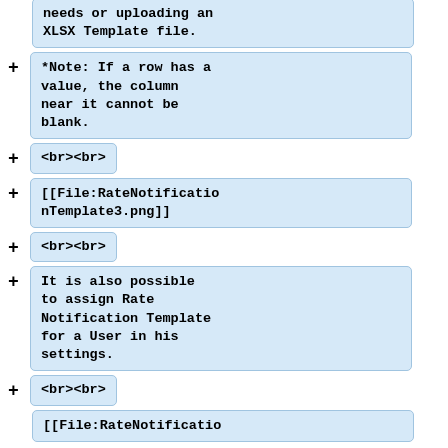needs or uploading an XLSX Template file.
*Note: If a row has a value, the column near it cannot be blank.
<br><br>
[[File:RateNotificationTemplate3.png]]
<br><br>
It is also possible to assign Rate Notification Template for a User in his settings.
<br><br>
[[File:RateNotificatio